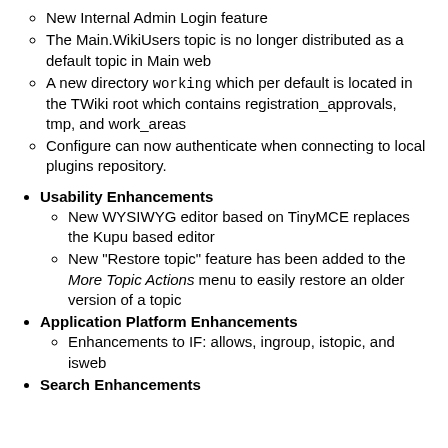New Internal Admin Login feature
The Main.WikiUsers topic is no longer distributed as a default topic in Main web
A new directory working which per default is located in the TWiki root which contains registration_approvals, tmp, and work_areas
Configure can now authenticate when connecting to local plugins repository.
Usability Enhancements
New WYSIWYG editor based on TinyMCE replaces the Kupu based editor
New "Restore topic" feature has been added to the More Topic Actions menu to easily restore an older version of a topic
Application Platform Enhancements
Enhancements to IF: allows, ingroup, istopic, and isweb
Search Enhancements